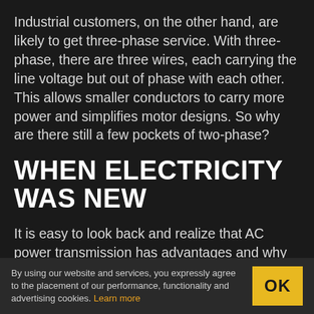Industrial customers, on the other hand, are likely to get three-phase service. With three-phase, there are three wires, each carrying the line voltage but out of phase with each other. This allows smaller conductors to carry more power and simplifies motor designs. So why are there still a few pockets of two-phase?
WHEN ELECTRICITY WAS NEW
It is easy to look back and realize that AC power transmission has advantages and why three-phase is used. But back when electricity was a new service, none of those things were obvious
By using our website and services, you expressly agree to the placement of our performance, functionality and advertising cookies. Learn more